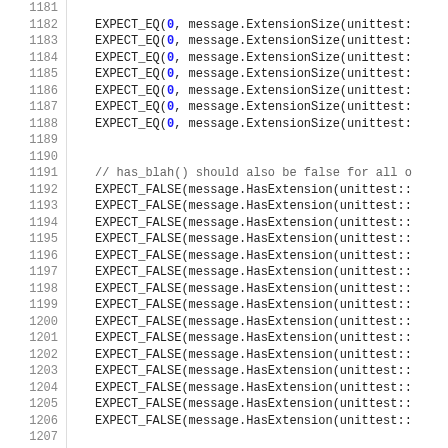Source code listing lines 1181-1210 showing EXPECT_EQ and EXPECT_FALSE calls with message.ExtensionSize and message.HasExtension unittest calls.